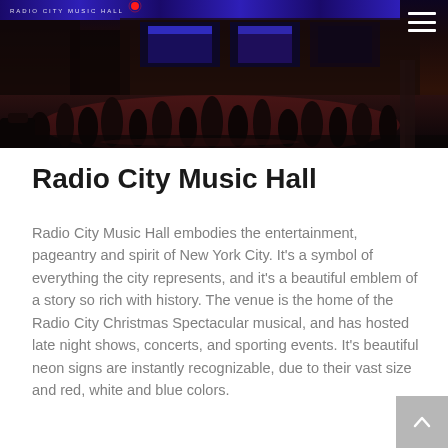[Figure (photo): Night scene photograph of Radio City Music Hall exterior with crowd of people on the street, neon blue marquee signs lit up, red traffic light visible, dark urban atmosphere]
Radio City Music Hall
Radio City Music Hall embodies the entertainment, pageantry and spirit of New York City. It's a symbol of everything the city represents, and it's a beautiful emblem of a story so rich with history. The venue is the home of the Radio City Christmas Spectacular musical, and has hosted late night shows, concerts, and sporting events. It's beautiful neon signs are instantly recognizable, due to their vast size and red, white and blue colors.